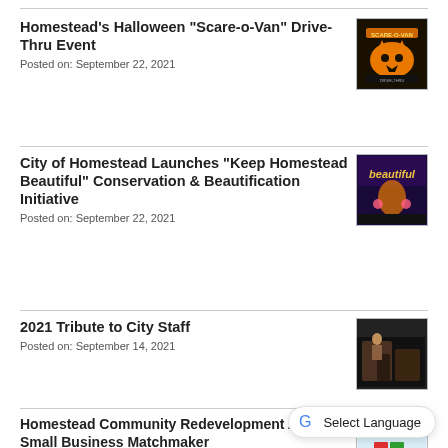Homestead's Halloween “Scare-o-Van” Drive-Thru Event
Posted on: September 22, 2021
[Figure (photo): Scare-o-Van Drive-Thru Event promotional image with jack-o-lanterns on dark background]
City of Homestead Launches “Keep Homestead Beautiful” Conservation & Beautification Initiative
Posted on: September 22, 2021
[Figure (photo): Keep Homestead Beautiful initiative image with text 'beautiful' on purple/blue background]
2021 Tribute to City Staff
Posted on: September 14, 2021
[Figure (photo): Dark image showing city staff tribute scene]
Homestead Community Redevelopment Agency Small Business Matchmaker
Posted on: September 7, 2021
[Figure (logo): Small Business Matchmaker logo with colorful grid icon and light blue background]